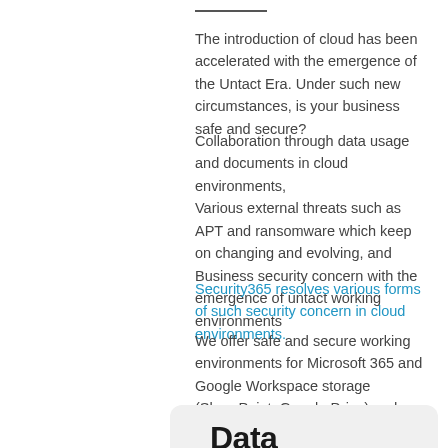The introduction of cloud has been accelerated with the emergence of the Untact Era. Under such new circumstances, is your business safe and secure?
Collaboration through data usage and documents in cloud environments,
Various external threats such as APT and ransomware which keep on changing and evolving, and
Business security concern with the emergence of untact working environments
Security365 resolves various forms of such security concern in cloud environments.
We offer safe and secure working environments for Microsoft 365 and Google Workspace storage (SharePoint, Google Drive) and email service users.
Data